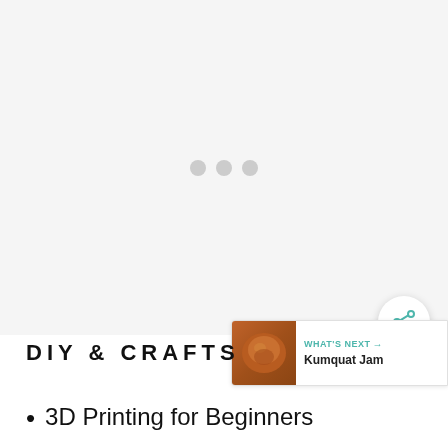[Figure (other): Ad placeholder area with light gray background and three loading dots in the center]
[Figure (other): Share button - circular white button with teal share/add icon]
[Figure (other): What's Next box with thumbnail image of kumquat jam and label text 'WHAT'S NEXT → Kumquat Jam']
DIY & CRAFTS
3D Printing for Beginners